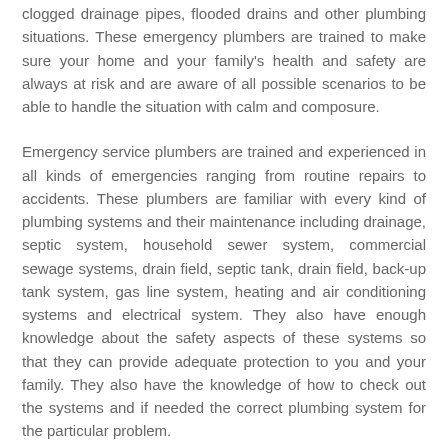clogged drainage pipes, flooded drains and other plumbing situations. These emergency plumbers are trained to make sure your home and your family's health and safety are always at risk and are aware of all possible scenarios to be able to handle the situation with calm and composure.
Emergency service plumbers are trained and experienced in all kinds of emergencies ranging from routine repairs to accidents. These plumbers are familiar with every kind of plumbing systems and their maintenance including drainage, septic system, household sewer system, commercial sewage systems, drain field, septic tank, drain field, back-up tank system, gas line system, heating and air conditioning systems and electrical system. They also have enough knowledge about the safety aspects of these systems so that they can provide adequate protection to you and your family. They also have the knowledge of how to check out the systems and if needed the correct plumbing system for the particular problem.
Pipes have to be replaced on a regular basis and there is a need for frequent inspection on the part of the plumbers. Regular inspections ensure safety and security in your house, your family's health, and your property. Regular inspections also prevent the formation of leaks and cracks in the pipes, which can result in water leakage, leaky faucets, and other types of plumbing issues.